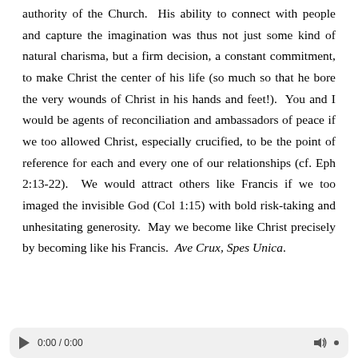authority of the Church. His ability to connect with people and capture the imagination was thus not just some kind of natural charisma, but a firm decision, a constant commitment, to make Christ the center of his life (so much so that he bore the very wounds of Christ in his hands and feet!). You and I would be agents of reconciliation and ambassadors of peace if we too allowed Christ, especially crucified, to be the point of reference for each and every one of our relationships (cf. Eph 2:13-22). We would attract others like Francis if we too imaged the invisible God (Col 1:15) with bold risk-taking and unhesitating generosity. May we become like Christ precisely by becoming like his Francis. Ave Crux, Spes Unica.
[Figure (other): Audio media player bar with play button, time display (0:00 / 0:00), volume icon, and menu dot]